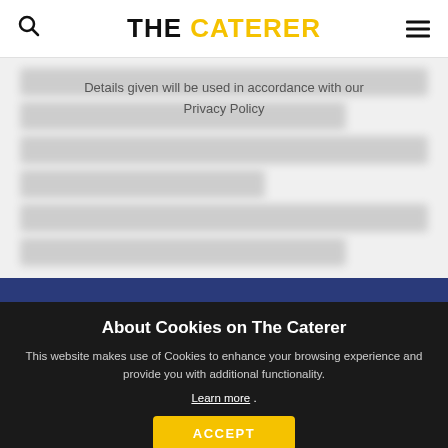THE CATERER
Details given will be used in accordance with our Privacy Policy
About Cookies on The Caterer
This website makes use of Cookies to enhance your browsing experience and provide you with additional functionality. Learn more .
ACCEPT